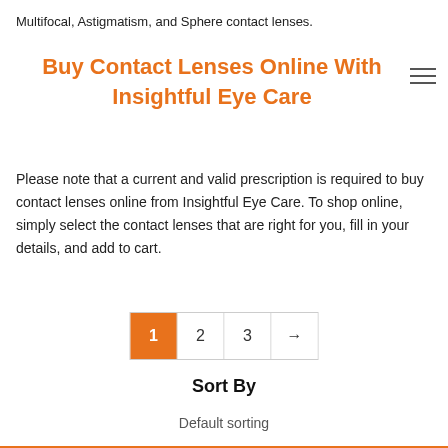Multifocal, Astigmatism, and Sphere contact lenses.
Buy Contact Lenses Online With Insightful Eye Care
Please note that a current and valid prescription is required to buy contact lenses online from Insightful Eye Care. To shop online, simply select the contact lenses that are right for you, fill in your details, and add to cart.
1  2  3  →
Sort By
Default sorting